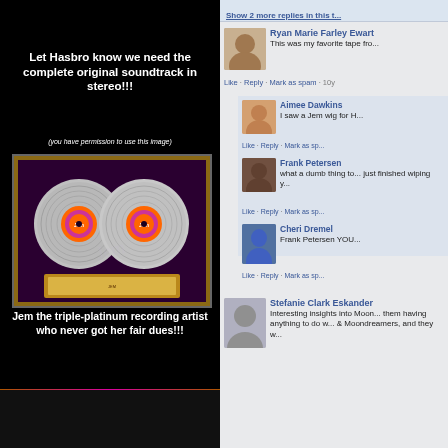Let Hasbro know we need the complete original soundtrack in stereo!!!
(you have permission to use this image)
[Figure (photo): Jem triple-platinum record award framed display with two silver vinyl records on dark purple background]
Jem the triple-platinum recording artist who never got her fair dues!!!
Show 2 more replies in this t...
Ryan Marie Farley Ewart
This was my favorite tape fro...
Like · Reply · Mark as spam · 10y
Aimee Dawkins
I saw a Jem wig for H...
Like · Reply · Mark as sp...
Frank Petersen
what a dumb thing to... just finished wiping y...
Like · Reply · Mark as sp...
Cheri Dremel
Frank Petersen YOU...
Like · Reply · Mark as sp...
Stefanie Clark Eskander
Interesting insights into Moon... them having anything to do w... & Moondreamers, and they w...